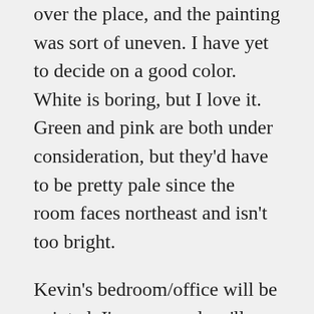over the place, and the painting was sort of uneven. I have yet to decide on a good color. White is boring, but I love it. Green and pink are both under consideration, but they'd have to be pretty pale since the room faces northeast and isn't too bright.
Kevin's bedroom/office will be painted, I'm sure, and we'll probably do another coat of white in the fish room. The living room/dining room is a gorgeous citrus green, but we want to put a red couch in there, so we'll see how that goes. And as I said yesterday, the family room will definitely be painted. So we'll be busy.
The new as-of-today project is the laundry room.